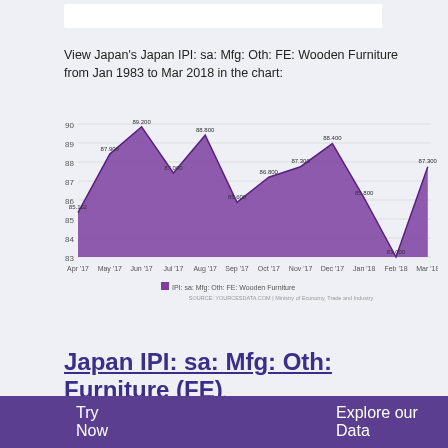View Japan's Japan IPI: sa: Mfg: Oth: FE: Wooden Furniture from Jan 1983 to Mar 2018 in the chart:
[Figure (area-chart): IPI: sa: Mfg: Oth: FE: Wooden Furniture]
Japan IPI: sa: Mfg: Oth: Furniture (FE)
1978 - 2018 | MONTHLY | 2010=100 | MINISTRY OF ECONOMY,